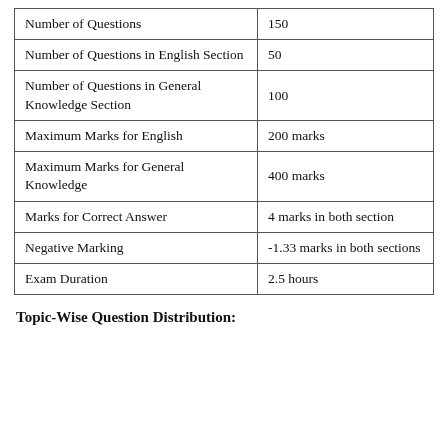| Number of Questions | 150 |
| Number of Questions in English Section | 50 |
| Number of Questions in General Knowledge Section | 100 |
| Maximum Marks for English | 200 marks |
| Maximum Marks for General Knowledge | 400 marks |
| Marks for Correct Answer | 4 marks in both section |
| Negative Marking | -1.33 marks in both sections |
| Exam Duration | 2.5 hours |
Topic-Wise Question Distribution: